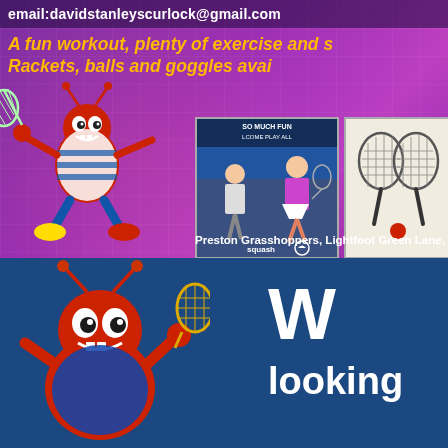email:davidstanleyscurlock@gmail.com
A fun workout, plenty of exercise and s... Rackets, balls and goggles avai...
[Figure (illustration): Red ant mascot cartoon playing badminton/squash on purple background]
[Figure (photo): Squash court photo with two players, text SO MUCH FUN PLAY ALL, squash logo]
[Figure (illustration): Two squash rackets forming a heart shape with a ball]
Preston Grasshoppers, Lightfoot Green Lane,
[Figure (illustration): Red ant mascot cartoon holding squash racket on blue background]
W
looking